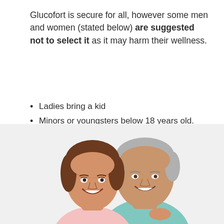Glucofort is secure for all, however some men and women (stated below) are suggested not to select it as it may harm their wellness.
Ladies bring a kid
Minors or youngsters below 18 years old.
Ladies that nursed their infants or baby.
Smokers, alcohol or drug user.
People with various other medical therapy.
[Figure (photo): Smiling middle-aged couple, woman with brown hair in front, man with grey hair behind her, white background]